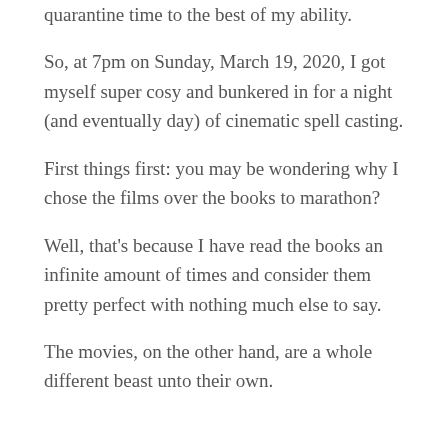quarantine time to the best of my ability.
So, at 7pm on Sunday, March 19, 2020, I got myself super cosy and bunkered in for a night (and eventually day) of cinematic spell casting.
First things first: you may be wondering why I chose the films over the books to marathon?
Well, that's because I have read the books an infinite amount of times and consider them pretty perfect with nothing much else to say.
The movies, on the other hand, are a whole different beast unto their own.